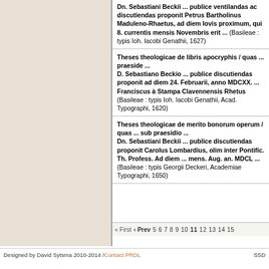Dn. Sebastiani Beckii ... publice ventilandas ac discutiendas proponit Petrus Bartholinus Maduleno-Rhaetus, ad diem Iovis proximum, qui 8. currentis mensis Novembris erit ... (Basileae : typis Ioh. Iacobi Genathii, 1627)
Theses theologicae de libris apocryphis / quas ... praeside ... D. Sebastiano Beckio ... publice discutiendas proponit ad diem 24. Februarii, anno MDCXX. ... Franciscus à Stampa Clavennensis Rhetus (Basileae : typis Ioh. Iacobi Genathii, Acad. Typographi, 1620)
Theses theologicae de merito bonorum operum / quas ... sub praesidio ... Dn. Sebastiani Beckii ... publice discutiendas proponit Carolus Lombardius, olim inter Pontific. Th. Profess. Ad diem ... mens. Aug. an. MDCL ... (Basileae : typis Georgii Deckeri, Academiae Typographi, 1650)
« First  ‹ Prev  5 6 7 8 9 10 11 12 13 14 15
Designed by David Sytsma 2010-2014 / Contact PRDL    SSD